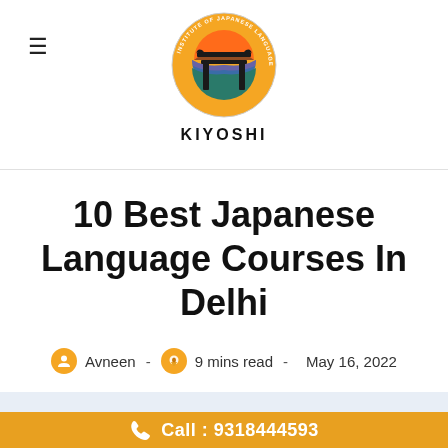KIYOSHI - Institute of Japanese Language
10 Best Japanese Language Courses In Delhi
Avneen - 9 mins read - May 16, 2022
Call : 9318444593